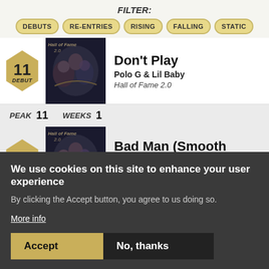FILTER:
DEBUTS
RE-ENTRIES
RISING
FALLING
STATIC
Don't Play | Polo G & Lil Baby | Hall of Fame 2.0 | Rank: 11 DEBUT
PEAK 11 WEEKS 1
Bad Man (Smooth Criminal) | Polo G | Rank: 12
We use cookies on this site to enhance your user experience
By clicking the Accept button, you agree to us doing so.
More info
Accept
No, thanks